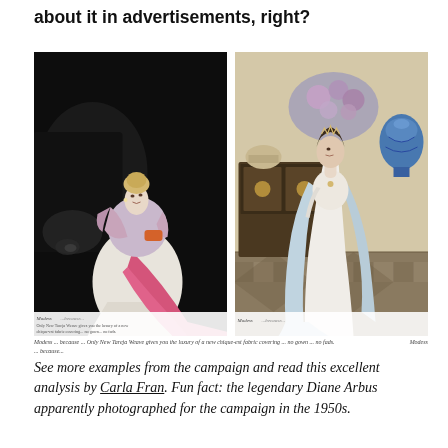about it in advertisements, right?
[Figure (photo): Two vintage Modess feminine hygiene advertisement images side by side. Left: black and white photo of an elegant blonde woman in a white mermaid gown with pink fur stole and orange clutch, standing beside a dark car. Right: color illustration of a woman in a white evening gown with pale blue wrap, in an ornate gilded room with large decorative urns and floral arrangement.]
Modess ... [signature] ... Only New Tareja Weave gives you the luxury of a new chique-est fabric covering ... no gown ... no fads. | Modess ... [signature]
See more examples from the campaign and read this excellent analysis by Carla Fran. Fun fact: the legendary Diane Arbus apparently photographed for the campaign in the 1950s.